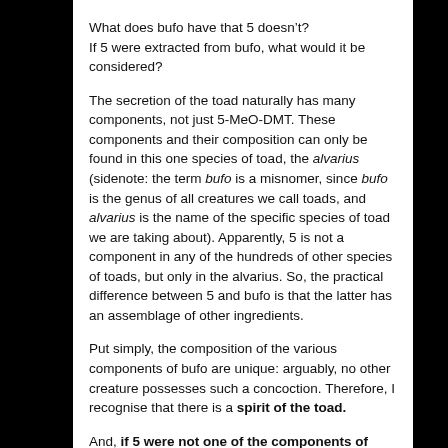What does bufo have that 5 doesn't?
If 5 were extracted from bufo, what would it be considered?
The secretion of the toad naturally has many components, not just 5-MeO-DMT. These components and their composition can only be found in this one species of toad, the alvarius (sidenote: the term bufo is a misnomer, since bufo is the genus of all creatures we call toads, and alvarius is the name of the specific species of toad we are taking about). Apparently, 5 is not a component in any of the hundreds of other species of toads, but only in the alvarius. So, the practical difference between 5 and bufo is that the latter has an assemblage of other ingredients.
Put simply, the composition of the various components of bufo are unique: arguably, no other creature possesses such a concoction. Therefore, I recognise that there is a spirit of the toad.
And, if 5 were not one of the components of bufo, no one would be smoking it. Its ‘spirit’, like the spirit of the hundreds of other species of toads, would not be appreciated by anyone in this same way. I have yet to hear anyone use the word